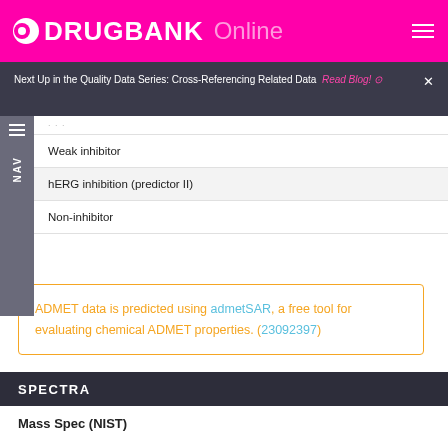DRUGBANK Online
Next Up in the Quality Data Series: Cross-Referencing Related Data  Read Blog! ⊙  ×
| Weak inhibitor |
| hERG inhibition (predictor II) |
| Non-inhibitor |
ADMET data is predicted using admetSAR, a free tool for evaluating chemical ADMET properties. (23092397)
SPECTRA
Mass Spec (NIST)